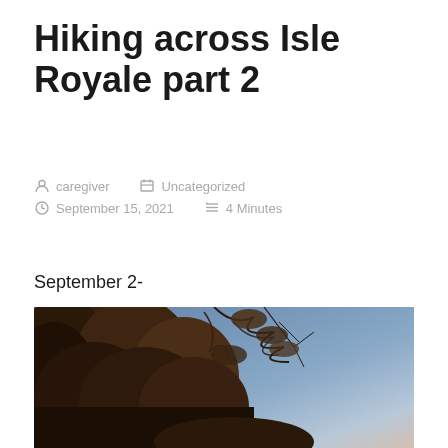Hiking across Isle Royale part 2
caregiver   Uncategorized   September 15, 2021   4 Minutes
September 2-
[Figure (photo): Photo of dark conifer trees on the left side against a blue and pale pink sky, taken at dusk or dawn at Isle Royale.]